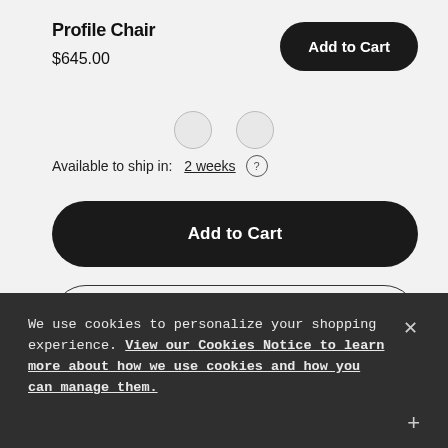Profile Chair
$645.00
Add to Cart
[Figure (illustration): Two color swatch circles (partial view)]
Available to ship in: 2 weeks
Add to Cart
Save to Wishlist
See in Store
Add to R
We use cookies to personalize your shopping experience. View our Cookies Notice to learn more about how we use cookies and how you can manage them.